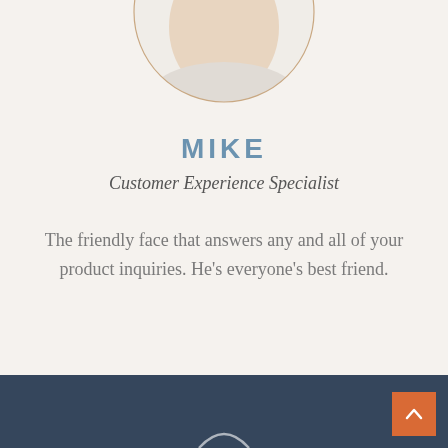[Figure (photo): Circular portrait photo of Mike, partially cropped at top, showing head and shoulders against white background, framed with a thin gold/rose circle border]
MIKE
Customer Experience Specialist
The friendly face that answers any and all of your product inquiries. He's everyone's best friend.
Footer with dark navy background and scroll-to-top button